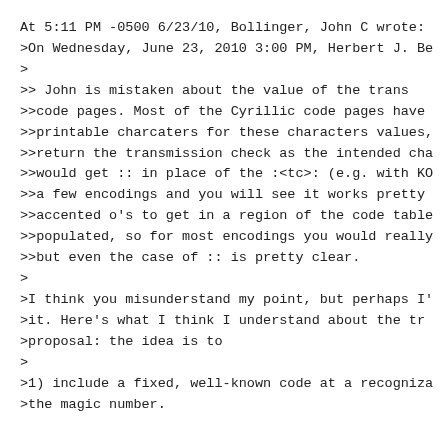At 5:11 PM -0500 6/23/10, Bollinger, John C wrote:
>On Wednesday, June 23, 2010 3:00 PM, Herbert J. Be
>
>>    John is mistaken about the value of the trans
>>code pages.  Most of the Cyrillic code pages have
>>printable charcaters for these characters values,
>>return the transmission check as the intended cha
>>would get :: in place of the :<tc>: (e.g. with KO
>>a few encodings and you will see it works pretty
>>accented o's to get in a region of the code table
>>populated, so for most encodings you would really
>>but even the case of :: is pretty clear.
>
>I think you misunderstand my point, but perhaps I'
>it.  Here's what I think I understand about the tr
>proposal: the idea is to
>
>1) include a fixed, well-known code at a recogniza
>the magic number.